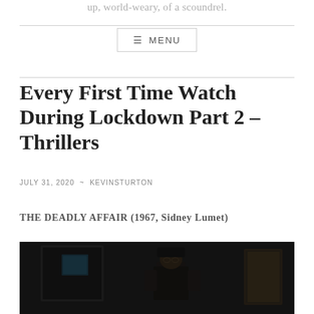up, world-weary, of a scoundrel.
☰ MENU
Every First Time Watch During Lockdown Part 2 – Thrillers
JULY 31, 2020  ~  KEVINSTURTON
THE DEADLY AFFAIR (1967, Sidney Lumet)
[Figure (photo): A dark still from the film The Deadly Affair (1967), showing a man in a bowler hat in a dimly lit scene.]